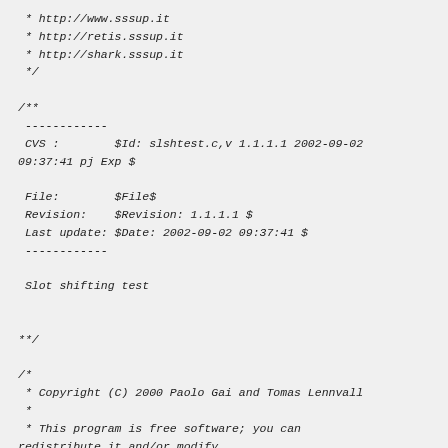* http://www.sssup.it
 * http://retis.sssup.it
 * http://shark.sssup.it
 */

/**
 ------------
 CVS :        $Id: slshtest.c,v 1.1.1.1 2002-09-02 09:37:41 pj Exp $

 File:        $File$
 Revision:    $Revision: 1.1.1.1 $
 Last update: $Date: 2002-09-02 09:37:41 $
 ------------

 Slot shifting test


**/

/*
 * Copyright (C) 2000 Paolo Gai and Tomas Lennvall
 *
 * This program is free software; you can redistribute it and/or modify
 * it under the terms of the GNU General Public
License as published by